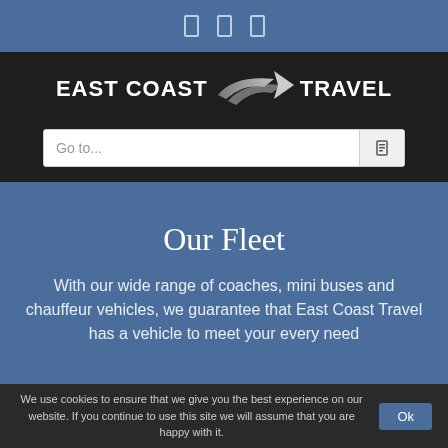[Figure (logo): Three small rectangle icon placeholders in the blue top bar]
[Figure (logo): East Coast Travel logo with swoosh graphic on dark background]
Go to...
Our Fleet
With our wide range of coaches, mini buses and chauffeur vehicles, we guarantee that East Coast Travel has a vehicle to meet your every need
We use cookies to ensure that we give you the best experience on our website. If you continue to use this site we will assume that you are happy with it.